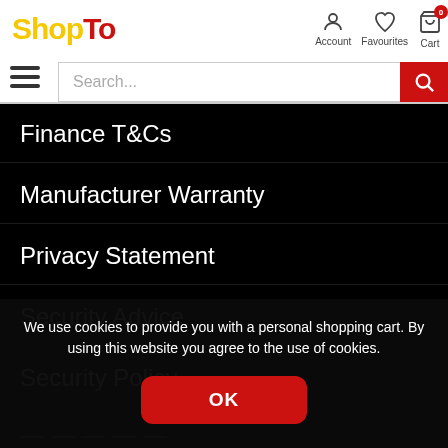[Figure (logo): ShopTo logo with Shop in yellow and To in red]
[Figure (infographic): Navigation icons: Account (person), Favourites (heart), Cart (shopping cart with 0 badge)]
[Figure (other): Hamburger menu icon (three horizontal lines)]
[Figure (other): Search bar with placeholder text Search... and red search button]
Finance T&Cs
Manufacturer Warranty
Privacy Statement
Security Advice
Security Policy
We use cookies to provide you with a personal shopping cart. By using this website you agree to the use of cookies.
OK